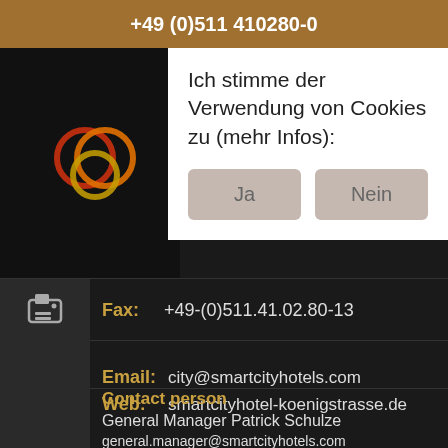+49 (0)511 410280-0
[Figure (logo): Smart City Hotels logo - overlapping orange and gold circles]
Ich stimme der Verwendung von Cookies zu (mehr Infos):
Ja | Nein
Fax: +49-(0)511.41.02.80-13
Email: city@smartcityhotels.com
Web: smartcityhotel-koenigstrasse.de
Contact person
General Manager Patrick Schulze
general.manager@smartcityhotels.com